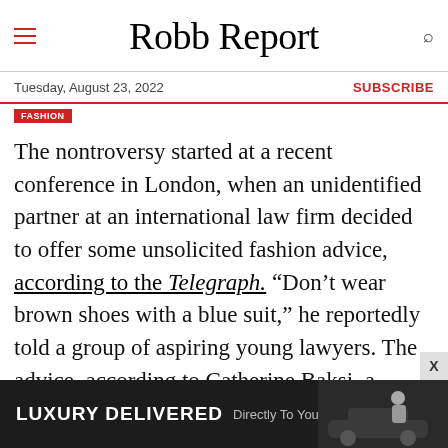Robb Report
Tuesday, August 23, 2022 | SUBSCRIBE
The nontroversy started at a recent conference in London, when an unidentified partner at an international law firm decided to offer some unsolicited fashion advice, according to the Telegraph. “Don’t wear brown shoes with a blue suit,” he reportedly told a group of aspiring young lawyers. The advice, according to Catherine Baksi, a former lawyer and court reporter who attended the event and was the first to document the incident, was given in the
[Figure (other): Advertisement banner reading LUXURY DELIVERED Directly To Your Inbox with a photo of a man in a blue shirt next to a car]